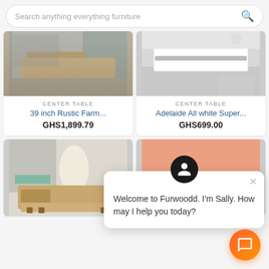Search anything everything furniture
[Figure (screenshot): Product card: 39 inch Rustic Farm... center table with wooden coffee table in living room setting]
CENTER TABLE
39 inch Rustic Farm...
GHS1,899.79
[Figure (screenshot): Product card: Adelaide All white Super... center table with white modern coffee table]
CENTER TABLE
Adelaide All white Super...
GHS699.00
[Figure (screenshot): Bottom left product: wooden coffee table with drawer in colorful living room]
[Figure (screenshot): Bottom right product: wooden coffee table with drawers on pink/peach background]
Welcome to Furwoodd. I'm Sally. How may I help you today?